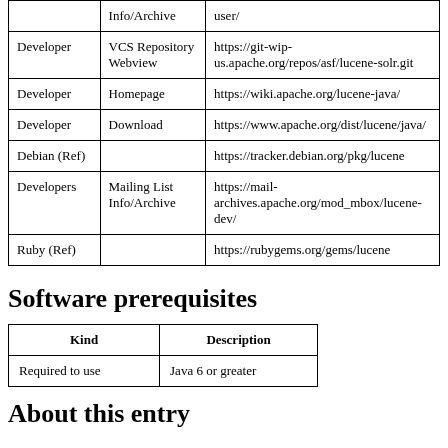|  | Info/Archive | user/ |
| --- | --- | --- |
| Developer | VCS Repository Webview | https://git-wip-us.apache.org/repos/asf/lucene-solr.git |
| Developer | Homepage | https://wiki.apache.org/lucene-java/ |
| Developer | Download | https://www.apache.org/dist/lucene/java/ |
| Debian (Ref) |  | https://tracker.debian.org/pkg/lucene |
| Developers | Mailing List Info/Archive | https://mail-archives.apache.org/mod_mbox/lucene-dev/ |
| Ruby (Ref) |  | https://rubygems.org/gems/lucene |
Software prerequisites
| Kind | Description |
| --- | --- |
| Required to use | Java 6 or greater |
About this entry